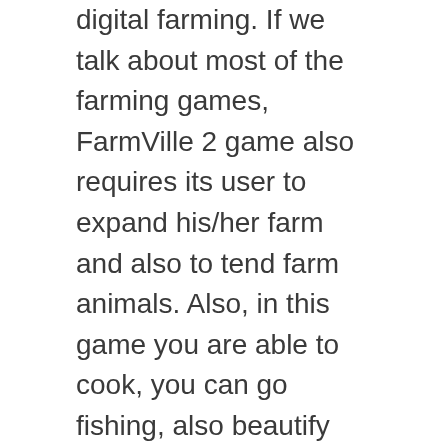digital farming. If we talk about most of the farming games, FarmVille 2 game also requires its user to expand his/her farm and also to tend farm animals. Also, in this game you are able to cook, you can go fishing, also beautify your space, and also make experiment with the recipes to get rare goods and much more.
No doubt, that this is one of the best games in terms of farming and also in the gaming world of farming games with tractors and animals. The players of this game will also get rewarded on the daily basis and also they will get a Prize Wheel Spin and also the ability to win Mystery Chest. Also, you are able to download it free of cost, and to get extra content, you need to access it in in-app purchases.